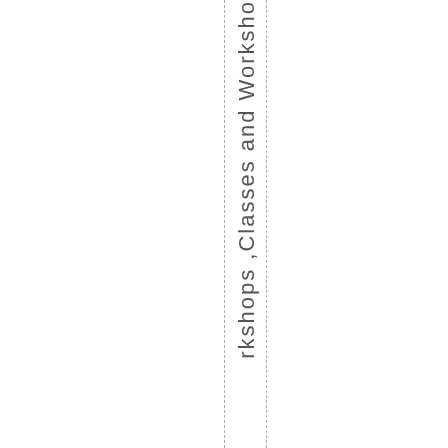rkshops ,Classes and Workshops